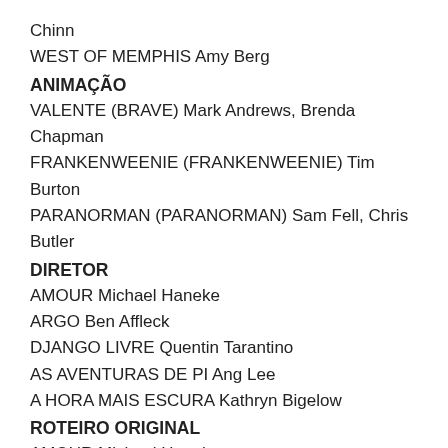Chinn
WEST OF MEMPHIS Amy Berg
ANIMAÇÃO
VALENTE (BRAVE) Mark Andrews, Brenda Chapman
FRANKENWEENIE (FRANKENWEENIE) Tim Burton
PARANORMAN (PARANORMAN) Sam Fell, Chris Butler
DIRETOR
AMOUR Michael Haneke
ARGO Ben Affleck
DJANGO LIVRE Quentin Tarantino
AS AVENTURAS DE PI Ang Lee
A HORA MAIS ESCURA Kathryn Bigelow
ROTEIRO ORIGINAL
AMOUR Michael Haneke